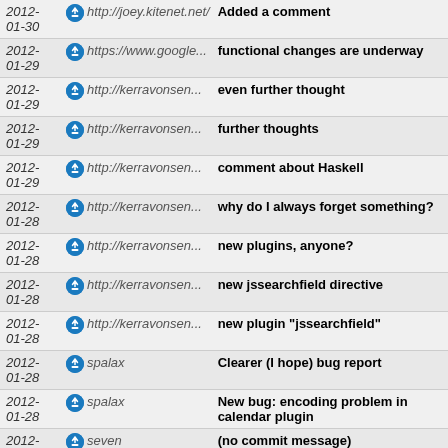| Date | User | Title |
| --- | --- | --- |
| 2012-01-30 | http://joey.kitenet.net/ | Added a comment |
| 2012-01-29 | https://www.google... | functional changes are underway |
| 2012-01-29 | http://kerravonsen... | even further thought |
| 2012-01-29 | http://kerravonsen... | further thoughts |
| 2012-01-29 | http://kerravonsen... | comment about Haskell |
| 2012-01-28 | http://kerravonsen... | why do I always forget something? |
| 2012-01-28 | http://kerravonsen... | new plugins, anyone? |
| 2012-01-28 | http://kerravonsen... | new jssearchfield directive |
| 2012-01-28 | http://kerravonsen... | new plugin "jssearchfield" |
| 2012-01-28 | spalax | Clearer (I hope) bug report |
| 2012-01-28 | spalax | New bug: encoding problem in calendar plugin |
| 2012-01-28 | seven | (no commit message) |
| 2012-01-28 | zut | (no commit message) |